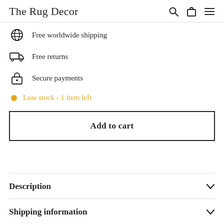The Rug Decor
Free worldwide shipping
Free returns
Secure payments
Low stock - 1 item left
Add to cart
Description
Shipping information